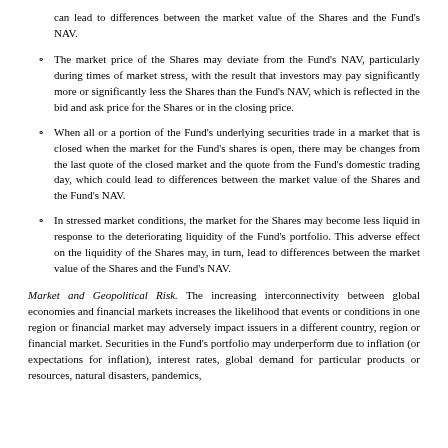can lead to differences between the market value of the Shares and the Fund's NAV.
The market price of the Shares may deviate from the Fund's NAV, particularly during times of market stress, with the result that investors may pay significantly more or significantly less the Shares than the Fund's NAV, which is reflected in the bid and ask price for the Shares or in the closing price.
When all or a portion of the Fund's underlying securities trade in a market that is closed when the market for the Fund's shares is open, there may be changes from the last quote of the closed market and the quote from the Fund's domestic trading day, which could lead to differences between the market value of the Shares and the Fund's NAV.
In stressed market conditions, the market for the Shares may become less liquid in response to the deteriorating liquidity of the Fund's portfolio. This adverse effect on the liquidity of the Shares may, in turn, lead to differences between the market value of the Shares and the Fund's NAV.
Market and Geopolitical Risk. The increasing interconnectivity between global economies and financial markets increases the likelihood that events or conditions in one region or financial market may adversely impact issuers in a different country, region or financial market. Securities in the Fund's portfolio may underperform due to inflation (or expectations for inflation), interest rates, global demand for particular products or resources, natural disasters, pandemics,